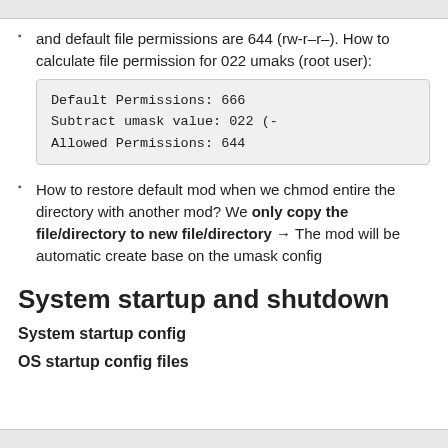and default file permissions are 644 (rw-r–r–). How to calculate file permission for 022 umaks (root user):
How to restore default mod when we chmod entire the directory with another mod? We only copy the file/directory to new file/directory → The mod will be automatic create base on the umask config
System startup and shutdown
System startup config
OS startup config files